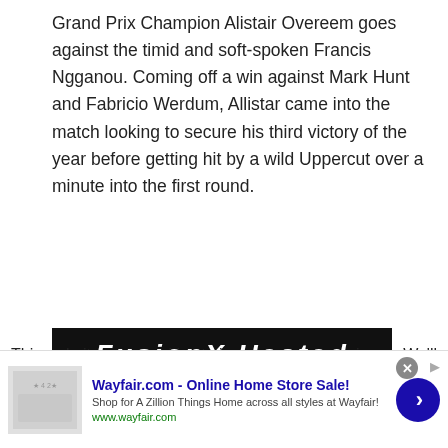Grand Prix Champion Alistair Overeem goes against the timid and soft-spoken Francis Ngganou. Coming off a win against Mark Hunt and Fabricio Werdum, Allistar came into the match looking to secure his third victory of the year before getting hit by a wild Uppercut over a minute into the first round.
[Figure (photo): FusionX Heated Massage Gun advertisement showing a blue massage gun with multiple attachment heads, with text: PERFECT POST-WORKOUT COMPANION, HEALS LONG-TERM PAIN & INJURIES, 5 SPEEDS, 5 HEADS, HEAT OPTION FOR...]
This website uses cookies to improve your experience. We'll
[Figure (screenshot): Wayfair.com advertisement banner with Wayfair logo, title 'Wayfair.com - Online Home Store Sale!', description 'Shop for A Zillion Things Home across all styles at Wayfair!', URL www.wayfair.com, and a blue circular arrow button]